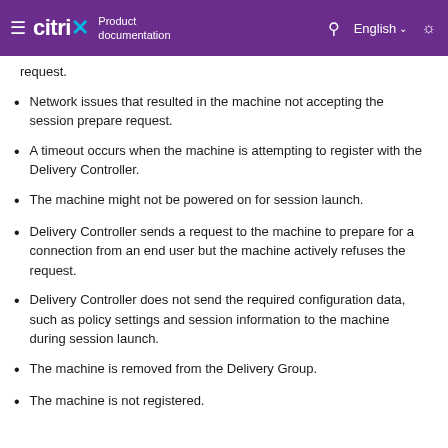Citrix Product documentation | English
request.
Network issues that resulted in the machine not accepting the session prepare request.
A timeout occurs when the machine is attempting to register with the Delivery Controller.
The machine might not be powered on for session launch.
Delivery Controller sends a request to the machine to prepare for a connection from an end user but the machine actively refuses the request.
Delivery Controller does not send the required configuration data, such as policy settings and session information to the machine during session launch.
The machine is removed from the Delivery Group.
The machine is not registered.